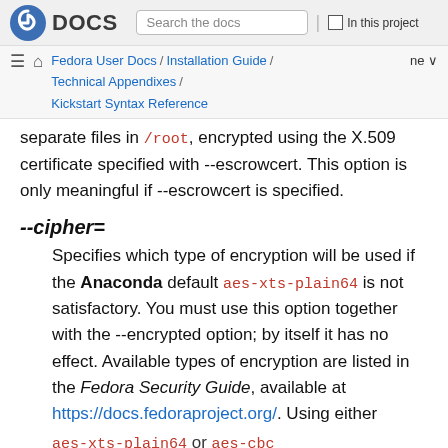Fedora DOCS | Search the docs | In this project
Fedora User Docs / Installation Guide / Technical Appendixes / Kickstart Syntax Reference | ne
separate files in /root, encrypted using the X.509 certificate specified with --escrowcert. This option is only meaningful if --escrowcert is specified.
--cipher=
Specifies which type of encryption will be used if the Anaconda default aes-xts-plain64 is not satisfactory. You must use this option together with the --encrypted option; by itself it has no effect. Available types of encryption are listed in the Fedora Security Guide, available at https://docs.fedoraproject.org/. Using either aes-xts-plain64 or aes-cbc...